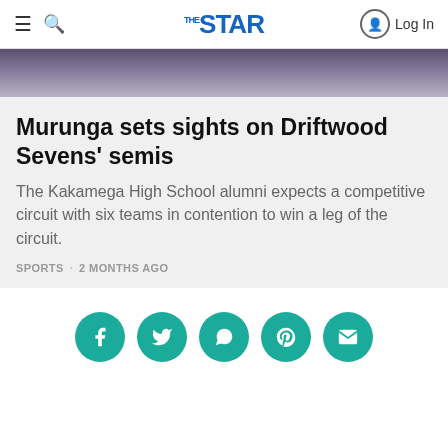THE STAR — Log In
[Figure (photo): Blurred dark purple/grey hero image banner at top of article]
Murunga sets sights on Driftwood Sevens' semis
The Kakamega High School alumni expects a competitive circuit with six teams in contention to win a leg of the circuit.
SPORTS  2 MONTHS AGO
[Figure (infographic): Social media share buttons row: Facebook, Twitter, WhatsApp, Pinterest, Email — teal circular icons]